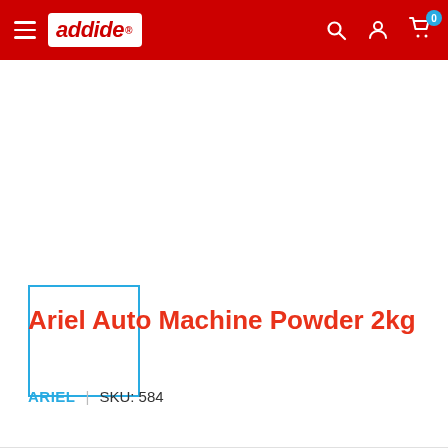[Figure (logo): Addide e-commerce website header with red background, hamburger menu icon on left, addide logo in white box, and search, account, cart icons on right with cart showing 0 badge]
[Figure (other): Product image thumbnail placeholder – small square with cyan/blue border, white interior, no image loaded]
Ariel Auto Machine Powder 2kg
ARIEL | SKU: 584